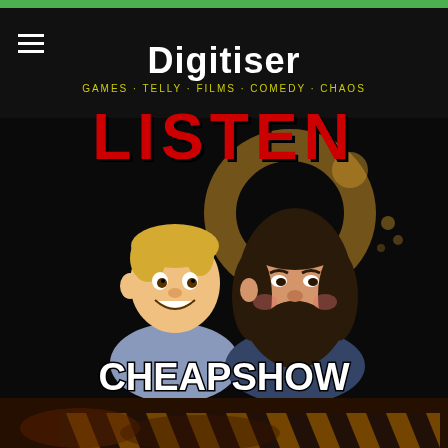Digitiser — GAMES · TELLY · FILMS · COMEDY · CHAOS
LISTEN
[Figure (illustration): Cartoon illustration of two characters: a smiling young man with blonde hair on the left and a bearded man with long dark hair on the right. Behind them is a coffee stain/ring graphic. Below them the word 'CHEAPSHOW' is written in a bold hand-drawn style. This is the podcast artwork for Cheapshow.]
[Figure (photo): Bottom strip showing a partially visible grunge/industrial style image with yellow and black hazard stripes visible at the bottom edge.]